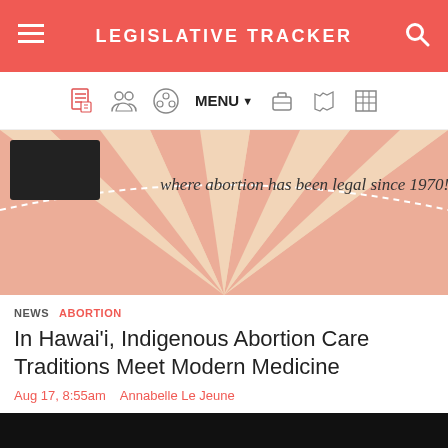LEGISLATIVE TRACKER
[Figure (screenshot): Navigation bar with icons for bills, people, committees, a MENU dropdown, briefcase, US map, and grid icons]
[Figure (illustration): Decorative illustration showing text 'where abortion has been legal since 1970!' on a beige and pink sunburst background]
NEWS   ABORTION
In Hawai'i, Indigenous Abortion Care Traditions Meet Modern Medicine
Aug 17, 8:55am   Annabelle Le Jeune
[Figure (logo): Logo or icon on a dark/black background, partially visible white circular design at the bottom of the page]